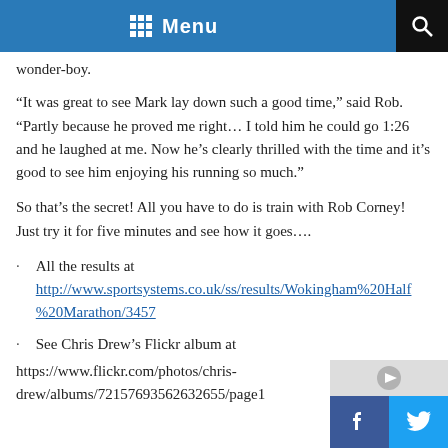Menu
wonder-boy.
“It was great to see Mark lay down such a good time,” said Rob. “Partly because he proved me right… I told him he could go 1:26 and he laughed at me. Now he’s clearly thrilled with the time and it’s good to see him enjoying his running so much.”
So that’s the secret! All you have to do is train with Rob Corney! Just try it for five minutes and see how it goes….
All the results at http://www.sportsystems.co.uk/ss/results/Wokingham%20Half%20Marathon/3457
See Chris Drew’s Flickr album at https://www.flickr.com/photos/chris-drew/albums/72157693562632655/page1